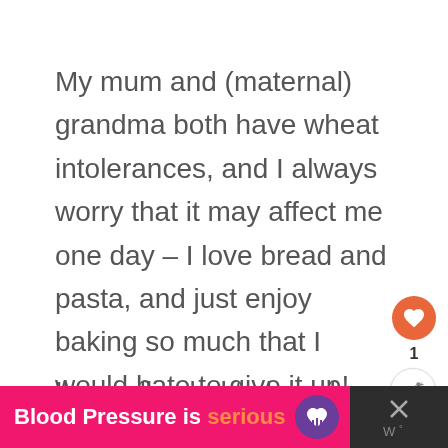My mum and (maternal) grandma both have wheat intolerances, and I always worry that it may affect me one day – I love bread and pasta, and just enjoy baking so much that I would hate to give it up!
I'm really glad to hear how much
[Figure (other): Like (heart) button icon - orange circle with white heart]
1
[Figure (other): Share button icon - white circle with share symbol and plus]
[Figure (infographic): Bottom banner advertisement: pink background with text 'Blood Pressure is serious' with a purple heart logo, and a dark close button on the right]